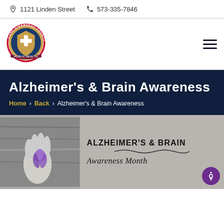1121 Linden Street  573-335-7846
[Figure (logo): Cape Girardeau County Public Health circular seal logo with cross and shield]
Alzheimer's & Brain Awareness
Home > Back > Alzheimer's & Brain Awareness
[Figure (photo): Black and white photo of hand holding purple awareness ribbon next to sign reading ALZHEIMER'S & BRAIN Awareness Month]